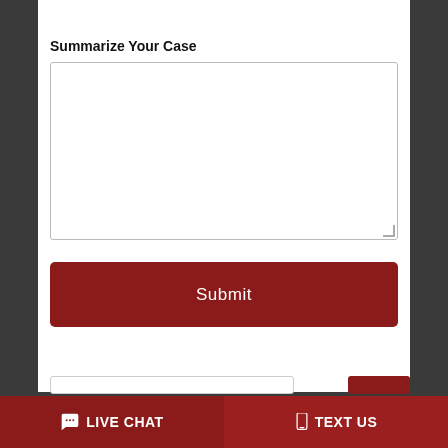[Figure (screenshot): A partial text input field at the top of the page, partially visible]
Summarize Your Case
[Figure (screenshot): A large empty textarea form field for entering case summary text]
Submit
LIVE CHAT   TEXT US